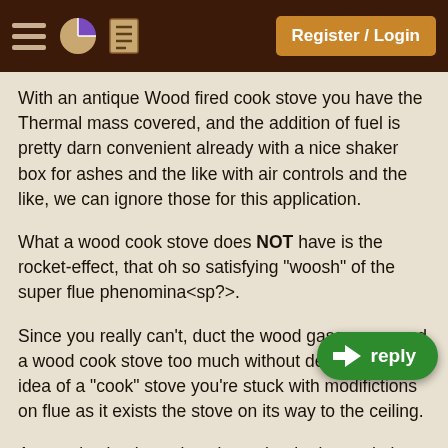Register / Login
With an antique Wood fired cook stove you have the Thermal mass covered, and the addition of fuel is pretty darn convenient already with a nice shaker box for ashes and the like with air controls and the like, we can ignore those for this application.
What a wood cook stove does NOT have is the rocket-effect, that oh so satisfying "woosh" of the super flue phenomina<sp?>.
Since you really can't, duct the wood gasses arround a wood cook stove too much without defeating the idea of a "cook" stove you're stuck with modifictions on flue as it exists the stove on its way to the ceiling.
An aggrivating issue is going to be the internal air resistance of the stove, there are a lot of inconvenient right angles and the like that make what I'm about to suggest iffy on whether it'll work, basically,